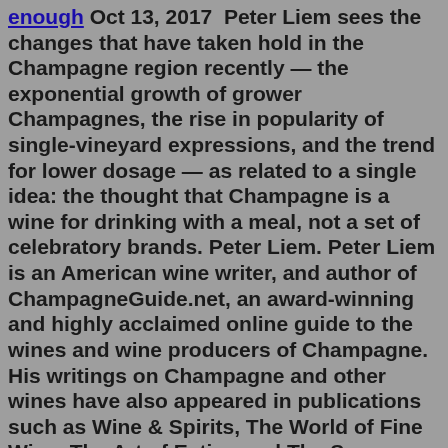enough Oct 13, 2017  Peter Liem sees the changes that have taken hold in the Champagne region recently — the exponential growth of grower Champagnes, the rise in popularity of single-vineyard expressions, and the trend for lower dosage — as related to a single idea: the thought that Champagne is a wine for drinking with a meal, not a set of celebratory brands. Peter Liem. Peter Liem is an American wine writer, and author of ChampagneGuide.net, an award-winning and highly acclaimed online guide to the wines and wine producers of Champagne. His writings on Champagne and other wines have also appeared in publications such as Wine & Spirits, The World of Fine Wine, The Art of Eating and The San Francisco ... Champagne is arguably the most famous wine in the world, yet while few people dislike drinking it, it Furthermore, champagne is generally consumed in relaxed and convivial circumstances, when we're...Introducing Champagne: The essential guide to the wines, producers, and terroirs of the iconic